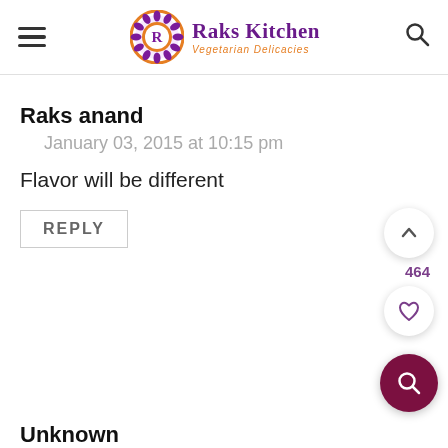Raks Kitchen - Vegetarian Delicacies
Raks anand
January 03, 2015 at 10:15 pm
Flavor will be different
REPLY
Unknown